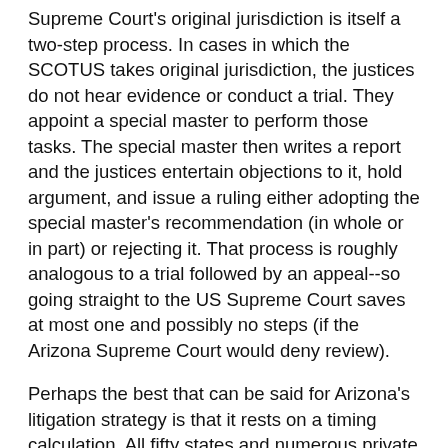Supreme Court's original jurisdiction is itself a two-step process. In cases in which the SCOTUS takes original jurisdiction, the justices do not hear evidence or conduct a trial. They appoint a special master to perform those tasks. The special master then writes a report and the justices entertain objections to it, hold argument, and issue a ruling either adopting the special master's recommendation (in whole or in part) or rejecting it. That process is roughly analogous to a trial followed by an appeal--so going straight to the US Supreme Court saves at most one and possibly no steps (if the Arizona Supreme Court would deny review).
Perhaps the best that can be said for Arizona's litigation strategy is that it rests on a timing calculation. All fifty states and numerous private parties will eventually sue Purdue Pharma and the Sacklers. Perhaps sooner rather than later, they will run out of money. If Arizona's lawyers have correctly deduced that a full original jurisdiction proceeding in the SCOTUS would take less time than litigating in state court, then maybe it makes sense to sue in the SCOTUS and get to judgment before other states and private parties exhaust the defendants' assets.